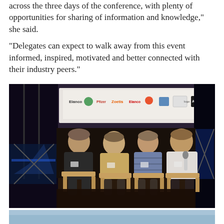across the three days of the conference, with plenty of opportunities for sharing of information and knowledge," she said.
"Delegates can expect to walk away from this event informed, inspired, motivated and better connected with their industry peers."
[Figure (photo): Panel discussion on a dark stage. Four men seated on wooden stools/chairs. The man on far right holds a microphone and is speaking. Sponsor logos visible on a banner in the background including Zoetis, Elanco, Pfizer, ALFA and others. Stage has blue lighting effects.]